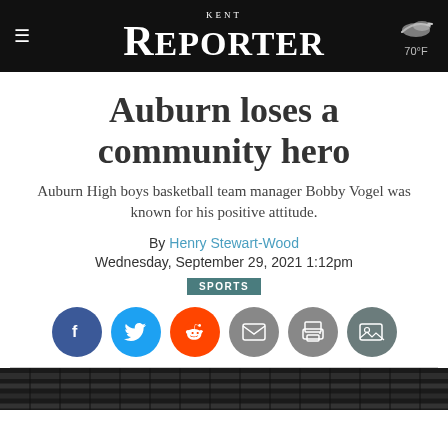KENT REPORTER — 70°F
Auburn loses a community hero
Auburn High boys basketball team manager Bobby Vogel was known for his positive attitude.
By Henry Stewart-Wood
Wednesday, September 29, 2021 1:12pm
SPORTS
[Figure (infographic): Social sharing icons: Facebook, Twitter, Reddit, Email, Print, Gallery]
[Figure (photo): Dark photo strip showing bleachers or crowd at bottom of page]